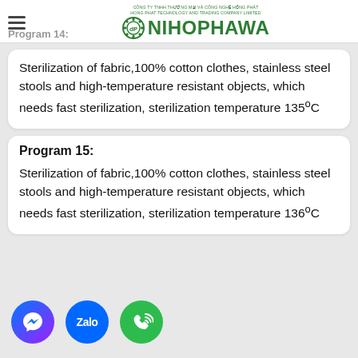NIHOPHAWA - HONG PHAT TECHNOLOGY AND TRADING COMPANY LIMITED
Program 14:
Sterilization of fabric,100% cotton clothes, stainless steel stools and high-temperature resistant objects, which needs fast sterilization, sterilization temperature 135°C
Program 15:
Sterilization of fabric,100% cotton clothes, stainless steel stools and high-temperature resistant objects, which needs fast sterilization, sterilization temperature 136°C